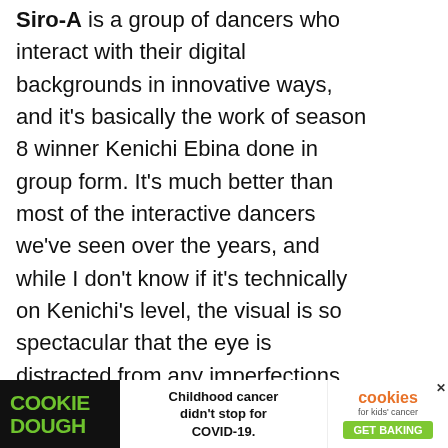Siro-A is a group of dancers who interact with their digital backgrounds in innovative ways, and it's basically the work of season 8 winner Kenichi Ebina done in group form. It's much better than most of the interactive dancers we've seen over the years, and while I don't know if it's technically on Kenichi's level, the visual is so spectacular that the eye is distracted from any imperfections.
Samantha Hess is a professional d... because that's apparently a thing that can m... its
[Figure (screenshot): Ad banner at bottom: Cookie Dough ad with text 'Childhood cancer didn't stop for COVID-19.' and cookies for kids' cancer GET BAKING]